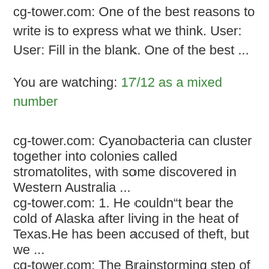cg-tower.com: One of the best reasons to write is to express what we think. User: User: Fill in the blank. One of the best ...
You are watching: 17/12 as a mixed number
cg-tower.com: Cyanobacteria can cluster together into colonies called stromatolites, with some discovered in Western Australia ...
cg-tower.com: 1. He couldn"t bear the cold of Alaska after living in the heat of Texas.He has been accused of theft, but we ...
cg-tower.com: The Brainstorming step of the writing process entails coming up with ideas. The planning step entails: ...
cg-tower.com: Option B; In clinical trials experimental treatments are compared to experimental treatments for the disease ...